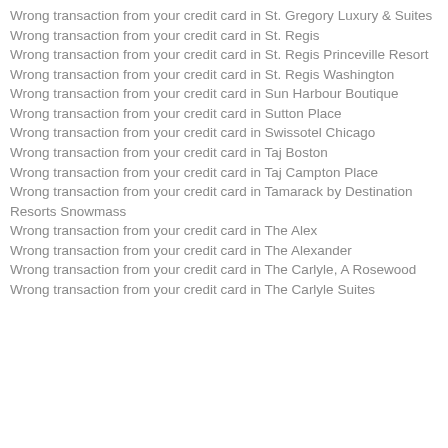Wrong transaction from your credit card in St. Gregory Luxury & Suites
Wrong transaction from your credit card in St. Regis
Wrong transaction from your credit card in St. Regis Princeville Resort
Wrong transaction from your credit card in St. Regis Washington
Wrong transaction from your credit card in Sun Harbour Boutique
Wrong transaction from your credit card in Sutton Place
Wrong transaction from your credit card in Swissotel Chicago
Wrong transaction from your credit card in Taj Boston
Wrong transaction from your credit card in Taj Campton Place
Wrong transaction from your credit card in Tamarack by Destination Resorts Snowmass
Wrong transaction from your credit card in The Alex
Wrong transaction from your credit card in The Alexander
Wrong transaction from your credit card in The Carlyle, A Rosewood
Wrong transaction from your credit card in The Carlyle Suites